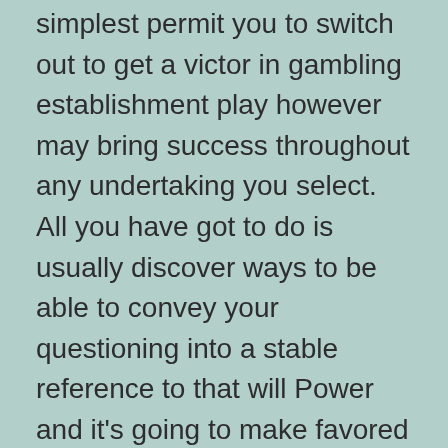simplest permit you to switch out to get a victor in gambling establishment play however may bring success throughout any undertaking you select. All you have got to do is usually discover ways to be able to convey your questioning into a stable reference to that will Power and it's going to make favored outcomes.
This kind of Power created an individual, added you into being–now not most basic you, but every person that is or perhaps is ever going to be, just as well as the particular